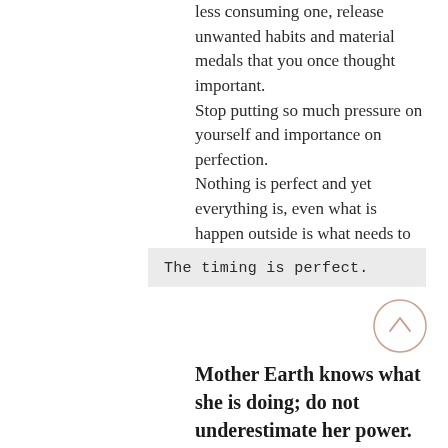less consuming one, release unwanted habits and material medals that you once thought important.
Stop putting so much pressure on yourself and importance on perfection.
Nothing is perfect and yet everything is, even what is happen outside is what needs to happen.
The timing is perfect.
Mother Earth knows what she is doing; do not underestimate her power.